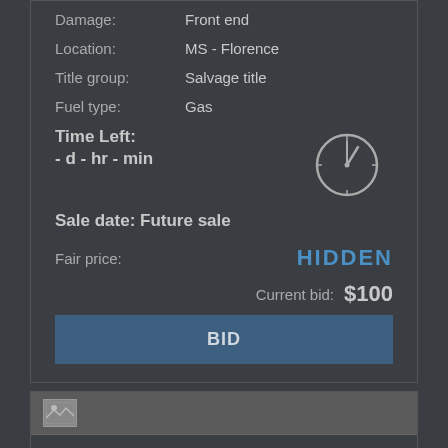Damage: Front end
Location: MS - Florence
Title group: Salvage title
Fuel type: Gas
Time Left: - d - hr - min
Sale date: Future sale
Fair price: HIDDEN
Current bid: $100
BID
2007 LEXUS GX 470 4.7L